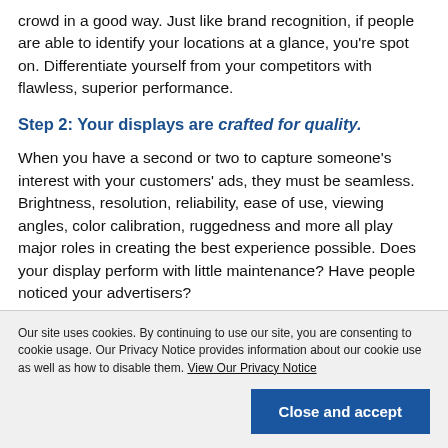crowd in a good way. Just like brand recognition, if people are able to identify your locations at a glance, you’re spot on. Differentiate yourself from your competitors with flawless, superior performance.
Step 2: Your displays are crafted for quality.
When you have a second or two to capture someone’s interest with your customers’ ads, they must be seamless. Brightness, resolution, reliability, ease of use, viewing angles, color calibration, ruggedness and more all play major roles in creating the best experience possible. Does your display perform with little maintenance? Have people noticed your advertisers?
Our site uses cookies. By continuing to use our site, you are consenting to cookie usage. Our Privacy Notice provides information about our cookie use as well as how to disable them. View Our Privacy Notice
Close and accept